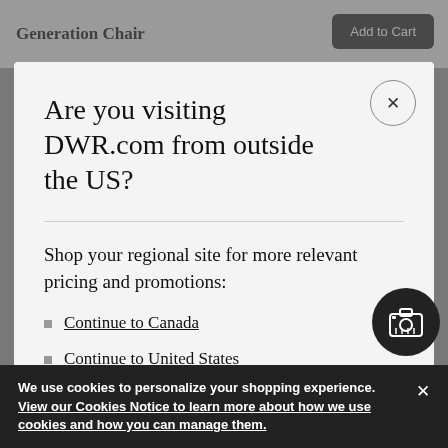Generation Chair
Are you visiting DWR.com from outside the US?
Shop your regional site for more relevant pricing and promotions:
Continue to Canada
Continue to United States
We use cookies to personalize your shopping experience. View our Cookies Notice to learn more about how we use cookies and how you can manage them.